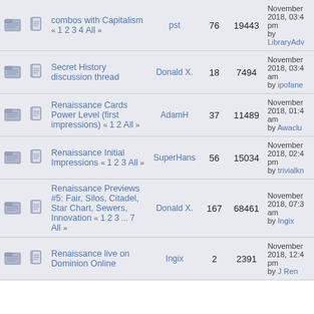|  |  | Topic | Author | Replies | Views | Last Post |
| --- | --- | --- | --- | --- | --- | --- |
|  |  | combos with Capitalism « 1 2 3 4 All » | pst | 76 | 19443 | November 2018, 03:4 pm by LibraryAdv |
|  |  | Secret History discussion thread | Donald X. | 18 | 7494 | November 2018, 03:4 am by ipofane |
|  |  | Renaissance Cards Power Level (first impressions) « 1 2 All » | AdamH | 37 | 11489 | November 2018, 01:4 am by Awaclu |
|  |  | Renaissance Initial Impressions « 1 2 3 All » | SuperHans | 56 | 15034 | November 2018, 02:4 pm by trivialkn |
|  |  | Renaissance Previews #5: Fair, Silos, Citadel, Star Chart, Sewers, Innovation « 1 2 3 ... 7 All » | Donald X. | 167 | 68461 | November 2018, 07:3 am by Ingix |
|  |  | Renaissance live on Dominion Online | Ingix | 2 | 2391 | November 2018, 12:4 pm by J Ren |